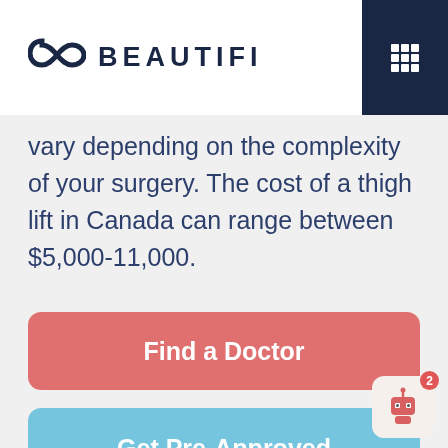[Figure (logo): Beautifi logo with infinity-style icon and text BEAUTIFI in dark navy, plus dark navy menu grid button in top right]
vary depending on the complexity of your surgery. The cost of a thigh lift in Canada can range between $5,000-11,000.
[Figure (other): Red/coral rounded button labeled 'Find a Doctor']
[Figure (other): Light blue rounded button labeled 'Get Pre-Approved']
[Figure (other): Chatbot robot icon with badge showing number 2]